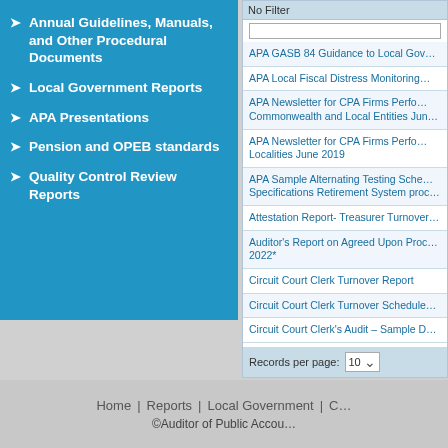Annual Guidelines, Manuals, and Other Procedural Documents
Local Government Reports
APA Presentations
Pension and OPEB standards
Quality Control Review Reports
| Document Name |
| --- |
| APA GASB 84 Guidance to Local Gov… |
| APA Local Fiscal Distress Monitoring… |
| APA Newsletter for CPA Firms Perfo… Commonwealth and Local Entities Jun… |
| APA Newsletter for CPA Firms Perfo… Localities June 2019 |
| APA Sample Alternating Testing Sche… Specifications Retirement System proc… |
| Attestation Report- Treasurer Turnover… |
| Auditor's Report on Agreed Upon Proc… 2022* |
| Circuit Court Clerk Turnover Report |
| Circuit Court Clerk Turnover Schedule… |
| Circuit Court Clerk's Audit – Sample D… |
Home | Reports | Local Government | C… ©Auditor of Public Accou…